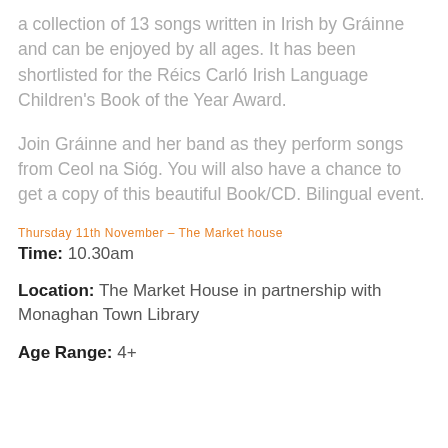a collection of 13 songs written in Irish by Gráinne and can be enjoyed by all ages. It has been shortlisted for the Réics Carló Irish Language Children's Book of the Year Award.
Join Gráinne and her band as they perform songs from Ceol na Sióg. You will also have a chance to get a copy of this beautiful Book/CD. Bilingual event.
Thursday 11th November – The Market house
Time: 10.30am
Location: The Market House in partnership with Monaghan Town Library
Age Range: 4+